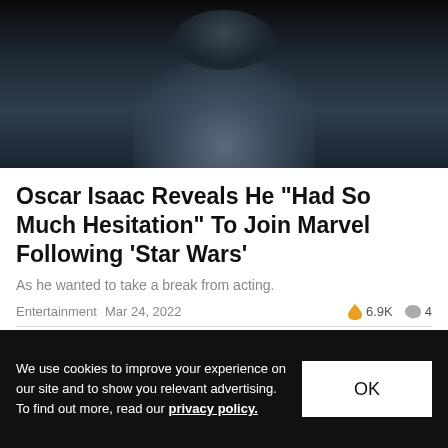[Figure (photo): Dark moody photo of a person in a hooded costume, face partially visible against dark background]
Oscar Isaac Reveals He "Had So Much Hesitation" To Join Marvel Following 'Star Wars'
As he wanted to take a break from acting.
Entertainment   Mar 24, 2022   🔥 6.9K   💬 4
[Figure (photo): Dark silhouette of a sports car against a deep red background with dramatic lighting]
We use cookies to improve your experience on our site and to show you relevant advertising. To find out more, read our privacy policy.